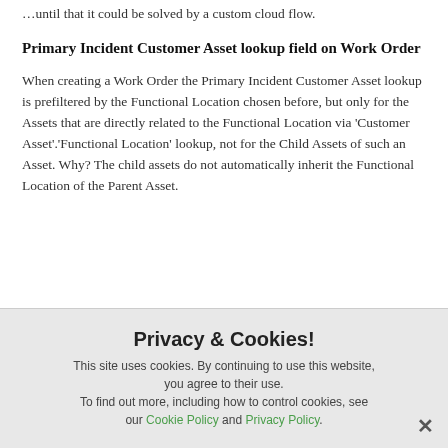…until that it could be solved by a custom cloud flow.
Primary Incident Customer Asset lookup field on Work Order
When creating a Work Order the Primary Incident Customer Asset lookup is prefiltered by the Functional Location chosen before, but only for the Assets that are directly related to the Functional Location via 'Customer Asset'.'Functional Location' lookup, not for the Child Assets of such an Asset. Why? The child assets do not automatically inherit the Functional Location of the Parent Asset.
Privacy & Cookies!
This site uses cookies. By continuing to use this website, you agree to their use.
To find out more, including how to control cookies, see our Cookie Policy and Privacy Policy.